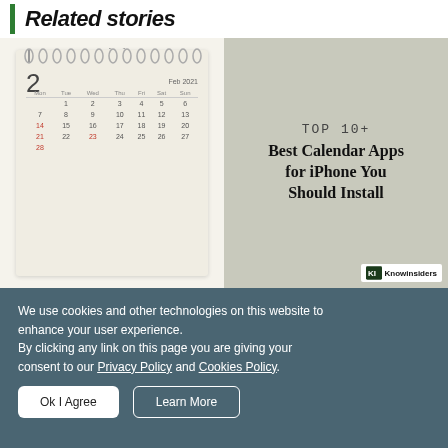Related stories
[Figure (photo): A wall calendar showing February 2021, with date '2' large in the top left, spiral binding at top, grid of dates including red highlighted dates 14, 21, 23, 28]
[Figure (illustration): Sage-green background card with text 'TOP 10+ Best Calendar Apps for iPhone You Should Install' and Knowinsiders logo badge at bottom right]
We use cookies and other technologies on this website to enhance your user experience.
By clicking any link on this page you are giving your consent to our Privacy Policy and Cookies Policy.
Ok I Agree
Learn More